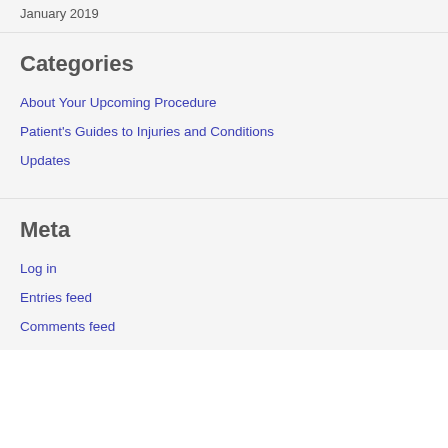January 2019
Categories
About Your Upcoming Procedure
Patient's Guides to Injuries and Conditions
Updates
Meta
Log in
Entries feed
Comments feed